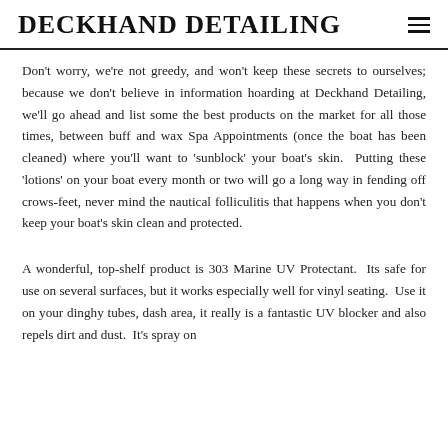DECKHAND DETAILING
Don't worry, we're not greedy, and won't keep these secrets to ourselves; because we don't believe in information hoarding at Deckhand Detailing, we'll go ahead and list some the best products on the market for all those times, between buff and wax Spa Appointments (once the boat has been cleaned) where you'll want to 'sunblock' your boat's skin.  Putting these 'lotions' on your boat every month or two will go a long way in fending off crows-feet, never mind the nautical folliculitis that happens when you don't keep your boat's skin clean and protected.
A wonderful, top-shelf product is 303 Marine UV Protectant.  Its safe for use on several surfaces, but it works especially well for vinyl seating.  Use it on your dinghy tubes, dash area, it really is a fantastic UV blocker and also repels dirt and dust.  It's spray on